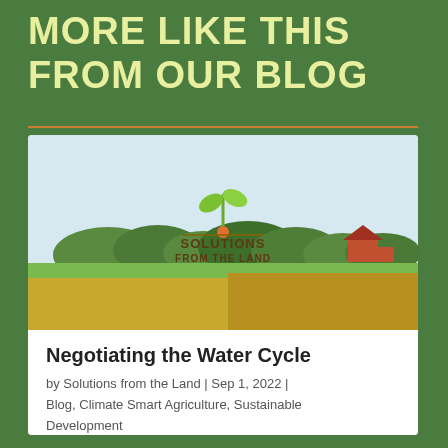MORE LIKE THIS FROM OUR BLOG
[Figure (illustration): Blog post card showing Solutions from the Land logo with a green plant sprout over a countryside landscape illustration with fields and trees]
Negotiating the Water Cycle
by Solutions from the Land | Sep 1, 2022 | Blog, Climate Smart Agriculture, Sustainable Development